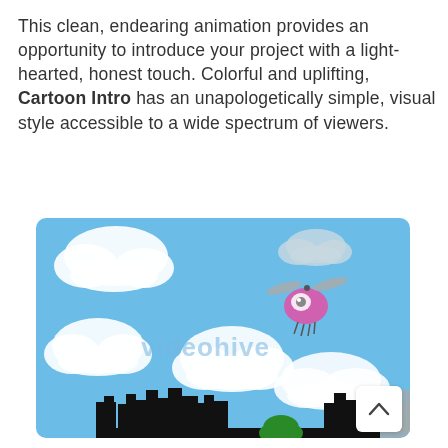This clean, endearing animation provides an opportunity to introduce your project with a light-hearted, honest touch. Colorful and uplifting, Cartoon Intro has an unapologetically simple, visual style accessible to a wide spectrum of viewers.
[Figure (illustration): Cartoon-style animation screenshot showing a blue sky with white puffy clouds, a pink cartoon bug/helicopter character flying in the upper right area, a black silhouette city skyline at the bottom, a green tree or bush at the bottom center, and a watermark reading 'videohive' in light blue text in the center. A gray cloud silhouette is at the bottom right.]